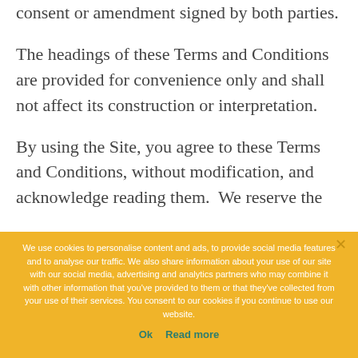consent or amendment signed by both parties.
The headings of these Terms and Conditions are provided for convenience only and shall not affect its construction or interpretation.
By using the Site, you agree to these Terms and Conditions, without modification, and acknowledge reading them. We reserve the
We use cookies to personalise content and ads, to provide social media features and to analyse our traffic. We also share information about your use of our site with our social media, advertising and analytics partners who may combine it with other information that you've provided to them or that they've collected from your use of their services. You consent to our cookies if you continue to use our website.
Ok   Read more